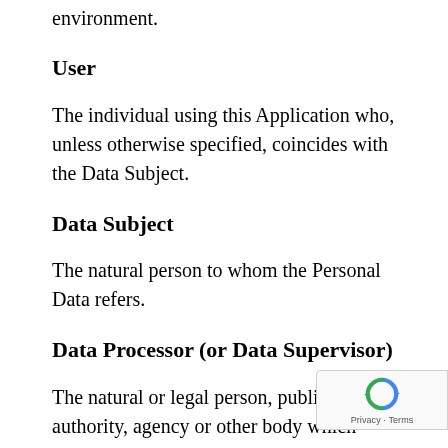environment.
User
The individual using this Application who, unless otherwise specified, coincides with the Data Subject.
Data Subject
The natural person to whom the Personal Data refers.
Data Processor (or Data Supervisor)
The natural or legal person, public authority, agency or other body which processes Personal